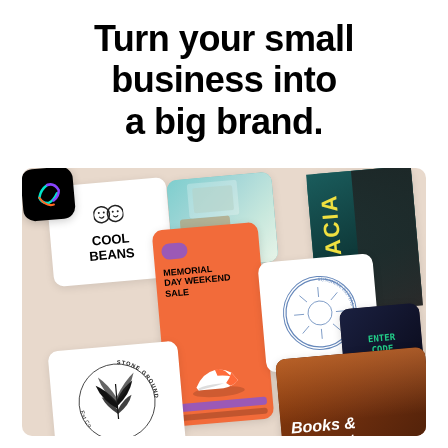Turn your small business into a big brand.
[Figure (illustration): A collage of various branded design templates and cards arranged at slight angles on a beige/tan background. Cards include: 'Cool Beans' logo card, a teal abstract photo card, 'ACACIA' text on dark teal, an orange 'Memorial Day Weekend Sale' card with a sneaker, 'Sunshine Dental Care' circular logo, a dark card, a black app icon, 'Stone Ground' logo with palm leaf, and an orange-brown 'Books & Podcasts' card.]